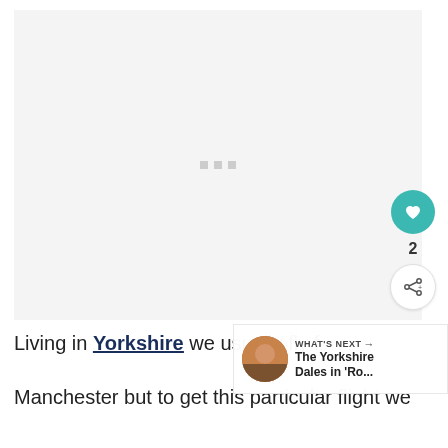[Figure (photo): Large light-grey image placeholder area with three small grey dots in the center, representing a loading or blank media slot. Social interaction buttons (heart/like and share) appear on the right side.]
Living in Yorkshire we usually fly from Manchester but to get this particular flight we
WHAT'S NEXT → The Yorkshire Dales in 'Ro...